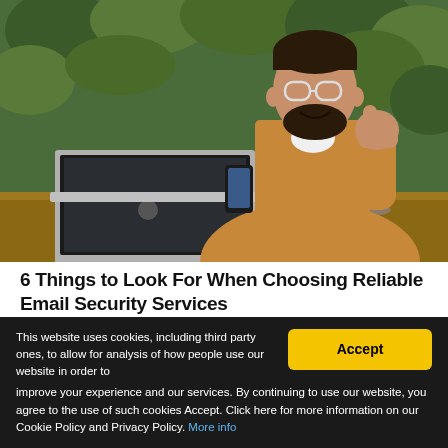[Figure (photo): A bearded man with glasses wearing a tan/camel cardigan sits at a wooden café table with a MacBook laptop and a coffee cup, giving a thumbs up and holding a smartphone. Behind him is a lush green plant wall.]
6 Things to Look For When Choosing Reliable Email Security Services
By: Contributing Writer  🗓 8/23/2022
Like most organizations, you use email as the main
This website uses cookies, including third party ones, to allow for analysis of how people use our website in order to improve your experience and our services. By continuing to use our website, you agree to the use of such cookies Accept. Click here for more information on our Cookie Policy and Privacy Policy. More info